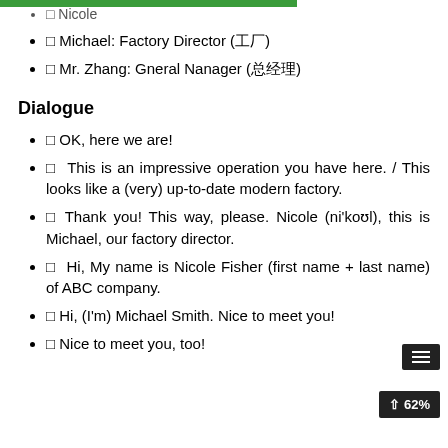□ Nicole
□ Michael: Factory Director (工厂)
□ Mr. Zhang: Gneral Nanager (总经理)
Dialogue
□ OK, here we are!
□  This is an impressive operation you have here. / This looks like a (very) up-to-date modern factory.
□ Thank you! This way, please. Nicole (ni'koʊl), this is Michael, our factory director.
□  Hi, My name is Nicole Fisher (first name + last name) of ABC company.
□ Hi, (I'm) Michael Smith. Nice to meet you!
□ Nice to meet you, too!